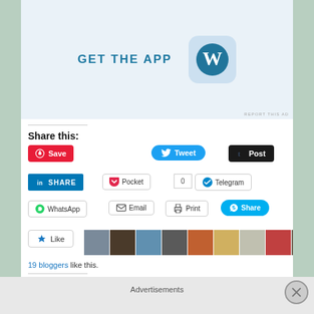[Figure (screenshot): WordPress 'Get the App' advertisement banner with WordPress logo]
REPORT THIS AD
Share this:
[Figure (screenshot): Save (Pinterest), Tweet (Twitter), Post (Tumblr) buttons]
[Figure (screenshot): LinkedIn SHARE, Pocket (0), Telegram buttons]
[Figure (screenshot): WhatsApp, Email, Print, Skype Share buttons]
[Figure (screenshot): Like button with blogger avatars strip]
19 bloggers like this.
Related
Advertisements